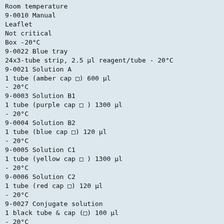Room temperature
9-0010 Manual
Leaflet
Not critical
Box -20°C
9-0022 Blue tray
24x3-tube strip, 2.5 μl reagent/tube - 20°C
9-0021 Solution A
1 tube (amber cap □) 600 μl
- 20°C
9-0003 Solution B1
1 tube (purple cap □ ) 1300 μl
- 20°C
9-0004 Solution B2
1 tube (blue cap □) 120 μl
- 20°C
9-0005 Solution C1
1 tube (yellow cap □ ) 1300 μl
- 20°C
9-0006 Solution C2
1 tube (red cap □) 120 μl
- 20°C
9-0027 Conjugate solution
1 black tube & cap (□) 100 μl
- 20°C
Positive and negative controls are built into the system. It is, however, strongly recommended to use a positive and negative control for each series of reactions e.g a salmonella of a known serotype and a non salmonella strain.
SHELF LIFE, STORAGE AND HANDLING
The components of the kit must be stored at -20°C and